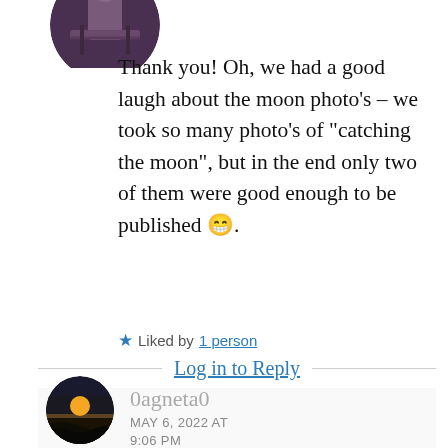[Figure (photo): Circular avatar photo at top, partially cropped, showing a person with bicycle, dark/purple toned image]
Thank you! Oh, we had a good laugh about the moon photo’s – we took so many photo’s of “catching the moon”, but in the end only two of them were good enough to be published 😁.
★ Liked by 1 person
Log in to Reply
[Figure (photo): Circular avatar photo showing a sunset landscape with golden sun on the horizon and dark terrain below]
0agneta0
MAY 6, 2022 AT
9:06 PM